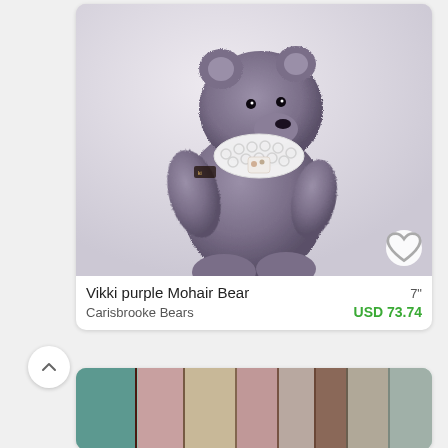[Figure (photo): Purple mohair teddy bear sitting upright, wearing a white crocheted collar/bib with a small floral embellishment. The bear has black bead eyes and a black nose. Product listing card with a white heart/favorite button in the lower right corner of the image.]
Vikki purple Mohair Bear   7"
Carisbrooke Bears   USD 73.74
[Figure (photo): Partial view of a second product listing showing a row of old/vintage books with muted colors (pink, teal, brown) on a shelf.]